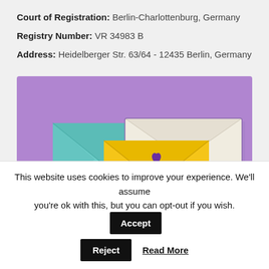Court of Registration: Berlin-Charlottenburg, Germany
Registry Number: VR 34983 B
Address: Heidelberger Str. 63/64 - 12435 Berlin, Germany
[Figure (illustration): Illustration of three envelopes (teal, cream/beige, and yellow) on a purple background. The yellow envelope in front has the OII Europe logo with a heart and the text 'oii EUROPE'.]
This website uses cookies to improve your experience. We'll assume you're ok with this, but you can opt-out if you wish.
Accept
Reject
Read More